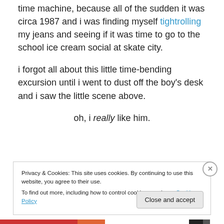time machine, because all of the sudden it was circa 1987 and i was finding myself tightrolling my jeans and seeing if it was time to go to the school ice cream social at skate city.
i forgot all about this little time-bending excursion until i went to dust off the boy’s desk and i saw the little scene above.
oh, i really like him.
Privacy & Cookies: This site uses cookies. By continuing to use this website, you agree to their use.
To find out more, including how to control cookies, see here: Cookie Policy